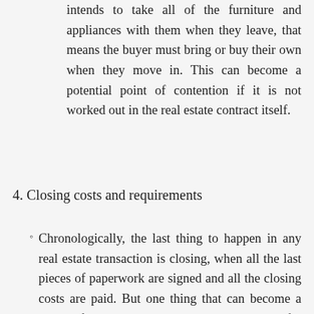intends to take all of the furniture and appliances with them when they leave, that means the buyer must bring or buy their own when they move in. This can become a potential point of contention if it is not worked out in the real estate contract itself.
4. Closing costs and requirements
Chronologically, the last thing to happen in any real estate transaction is closing, when all the last pieces of paperwork are signed and all the closing costs are paid. But one thing that can become a point of contention is who is responsible for which